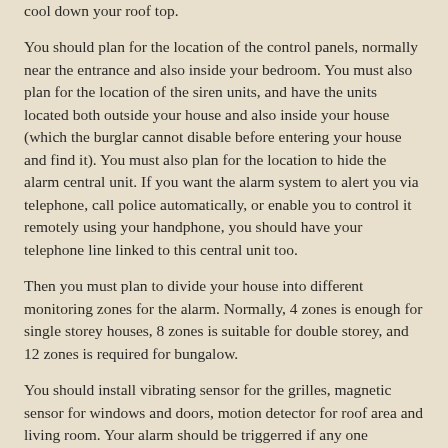cool down your roof top.
You should plan for the location of the control panels, normally near the entrance and also inside your bedroom. You must also plan for the location of the siren units, and have the units located both outside your house and also inside your house (which the burglar cannot disable before entering your house and find it). You must also plan for the location to hide the alarm central unit. If you want the alarm system to alert you via telephone, call police automatically, or enable you to control it remotely using your handphone, you should have your telephone line linked to this central unit too.
Then you must plan to divide your house into different monitoring zones for the alarm. Normally, 4 zones is enough for single storey houses, 8 zones is suitable for double storey, and 12 zones is required for bungalow.
You should install vibrating sensor for the grilles, magnetic sensor for windows and doors, motion detector for roof area and living room. Your alarm should be triggerred if any one